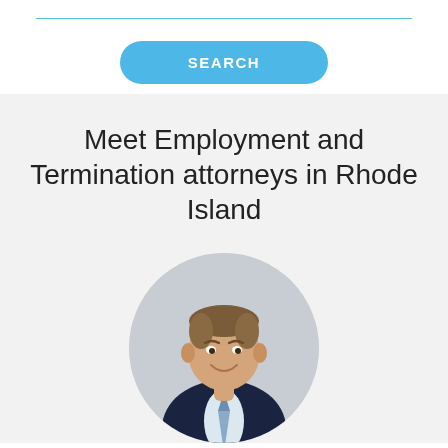[Figure (other): Horizontal blue divider line at top of page]
[Figure (other): Blue pill-shaped SEARCH button]
Meet Employment and Termination attorneys in Rhode Island
[Figure (photo): Circular profile photo of a male attorney in a dark suit and tie, smiling]